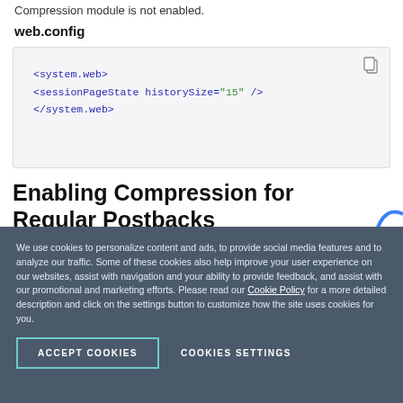Compression module is not enabled.
web.config
[Figure (screenshot): Code block showing XML configuration: <system.web> <sessionPageState historySize="15" /> </system.web> with a copy icon in top right corner]
Enabling Compression for Regular Postbacks
We use cookies to personalize content and ads, to provide social media features and to analyze our traffic. Some of these cookies also help improve your user experience on our websites, assist with navigation and your ability to provide feedback, and assist with our promotional and marketing efforts. Please read our Cookie Policy for a more detailed description and click on the settings button to customize how the site uses cookies for you.
ACCEPT COOKIES
COOKIES SETTINGS